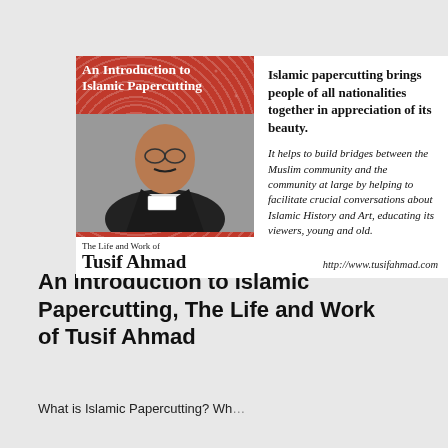[Figure (illustration): Book cover for 'An Introduction to Islamic Papercutting: The Life and Work of Tusif Ahmad'. Left half shows a red decorative Islamic papercut pattern with a photo of a man (Tusif Ahmad) in front of it, with title overlay and author name box. Right half shows bold text quote and italic quote about Islamic papercutting, plus a website URL.]
An Introduction to Islamic Papercutting, The Life and Work of Tusif Ahmad
What is Islamic Papercutting? Wh...